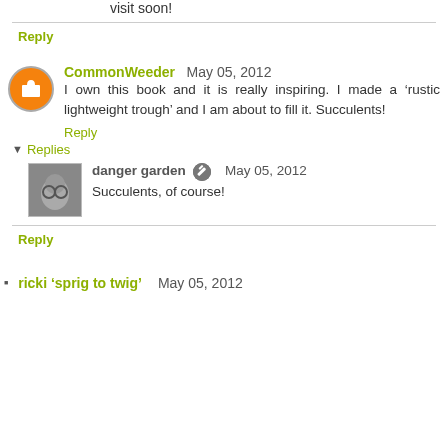visit soon!
Reply
CommonWeeder May 05, 2012
I own this book and it is really inspiring. I made a 'rustic lightweight trough' and I am about to fill it. Succulents!
Reply
Replies
danger garden May 05, 2012
Succulents, of course!
Reply
ricki 'sprig to twig' May 05, 2012